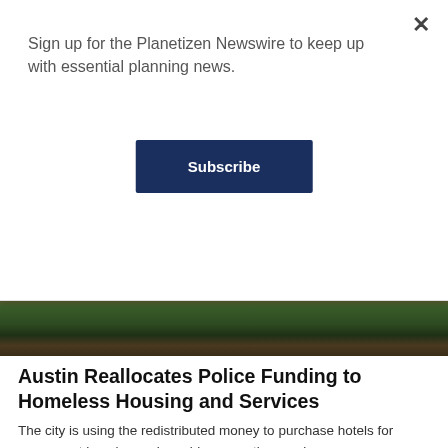Sign up for the Planetizen Newswire to keep up with essential planning news.
Subscribe
[Figure (photo): Street-level photo showing an urban scene with trees and brick buildings]
Austin Reallocates Police Funding to Homeless Housing and Services
The city is using the redistributed money to purchase hotels for permanent housing and provide supportive services.
February 8, 2021 - Curbed
[Figure (photo): Aerial cityscape photo of Spokane or similar western US city with downtown buildings, forested hills, and blue sky with clouds]